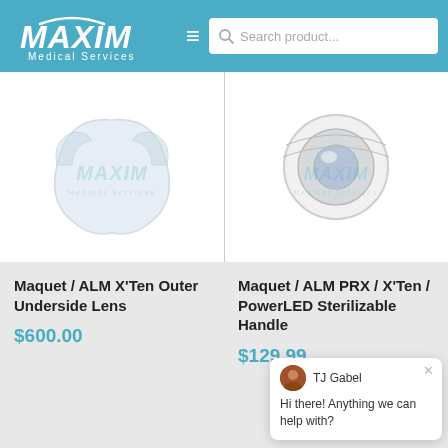MAXIM Medical Services — Search product...
[Figure (photo): Maquet ALM X'Ten Outer Underside Lens — translucent silicone lens component on white background with Maxim Medical Services watermark]
[Figure (photo): Maquet ALM PRX/X'Ten/PowerLED Sterilizable Handle — metal cylindrical handle component on white background with Maxim Medical Services watermark]
Maquet / ALM X'Ten Outer Underside Lens
$600.00
Maquet / ALM PRX / X'Ten / PowerLED Sterilizable Handle
$129.99
TJ Gabel
Hi there! Anything we can help with?